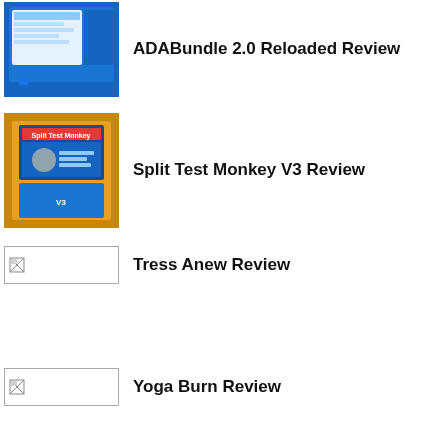[Figure (screenshot): Screenshot thumbnail of ADABundle 2.0 software interface]
ADABundle 2.0 Reloaded Review
[Figure (photo): Product box image for Split Test Monkey software]
Split Test Monkey V3 Review
[Figure (other): Broken image placeholder for Tress Anew Review]
Tress Anew Review
[Figure (other): Broken image placeholder for Yoga Burn Review]
Yoga Burn Review
[Figure (other): Broken image placeholder for SEPTIFIX Review]
SEPTIFIX Review